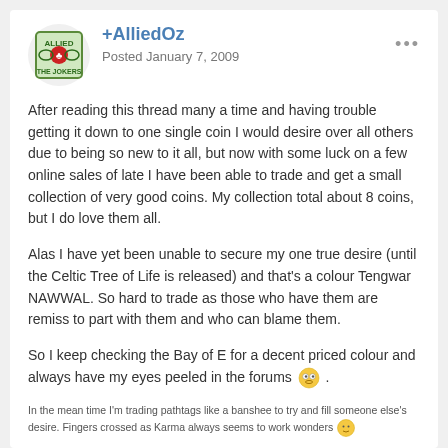+AlliedOz — Posted January 7, 2009
After reading this thread many a time and having trouble getting it down to one single coin I would desire over all others due to being so new to it all, but now with some luck on a few online sales of late I have been able to trade and get a small collection of very good coins. My collection total about 8 coins, but I do love them all.
Alas I have yet been unable to secure my one true desire (until the Celtic Tree of Life is released) and that's a colour Tengwar NAWWAL. So hard to trade as those who have them are remiss to part with them and who can blame them.
So I keep checking the Bay of E for a decent priced colour and always have my eyes peeled in the forums 👀 .
In the mean time I'm trading pathtags like a banshee to try and fill someone else's desire. Fingers crossed as Karma always seems to work wonders 🙂